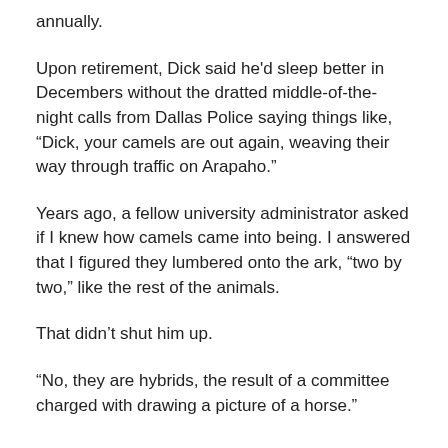annually.
Upon retirement, Dick said he'd sleep better in Decembers without the dratted middle-of-the-night calls from Dallas Police saying things like, “Dick, your camels are out again, weaving their way through traffic on Arapaho.”
Years ago, a fellow university administrator asked if I knew how camels came into being. I answered that I figured they lumbered onto the ark, “two by two,” like the rest of the animals.
That didn’t shut him up.
“No, they are hybrids, the result of a committee charged with drawing a picture of a horse.”